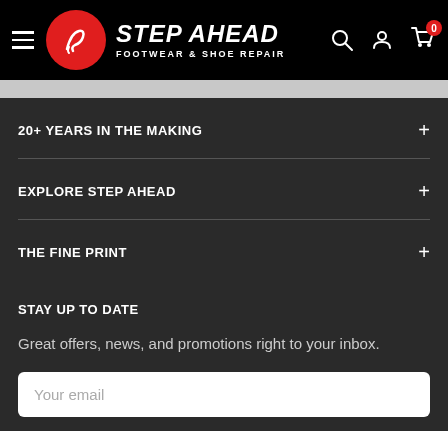[Figure (logo): Step Ahead Footwear & Shoe Repair logo with navigation header on black background including hamburger menu, red circular logo, brand name, search icon, account icon, and cart icon with badge showing 0]
20+ YEARS IN THE MAKING
EXPLORE STEP AHEAD
THE FINE PRINT
STAY UP TO DATE
Great offers, news, and promotions right to your inbox.
Your email